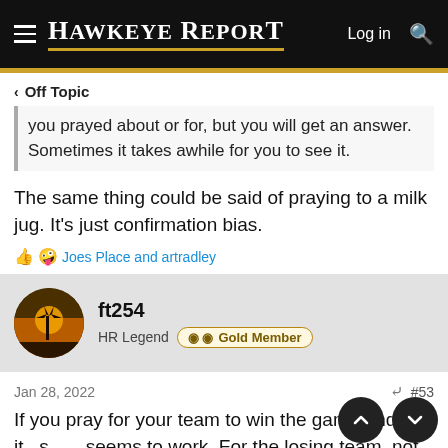Hawkeye Report — Log in (search)
< Off Topic
you prayed about or for, but you will get an answer. Sometimes it takes awhile for you to see it.
The same thing could be said of praying to a milk jug. It's just confirmation bias.
👍 🤣 Joes Place and artradley
ft254
HR Legend  🛡 🛡 Gold Member
Jan 28, 2022   #53
If you pray for your team to win the game and, it seems to work. For the losing team, not so good.